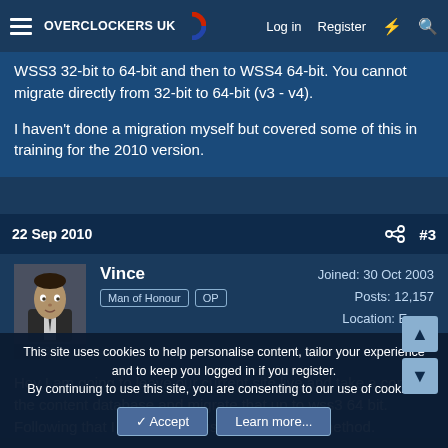Overclockers UK — Log in | Register
WSS3 32-bit to 64-bit and then to WSS4 64-bit. You cannot migrate directly from 32-bit to 64-bit (v3 - v4).

I haven't done a migration myself but covered some of this in training for the 2010 version.
22 Sep 2010  #3
Vince
Man of Honour  OP
Joined: 30 Oct 2003
Posts: 12,157
Location: Essex
Hey I am going to leave our current site live and take a copy of the content database and migrate that up to wss3 64 bit. Following that I am going to use the db attach method.
This site uses cookies to help personalise content, tailor your experience and to keep you logged in if you register.
By continuing to use this site, you are consenting to our use of cookies.